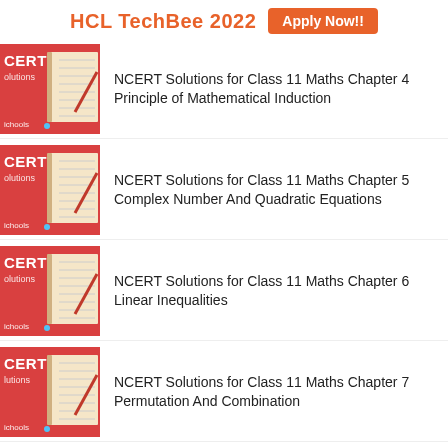HCL TechBee 2022  Apply Now!!
NCERT Solutions for Class 11 Maths Chapter 4 Principle of Mathematical Induction
NCERT Solutions for Class 11 Maths Chapter 5 Complex Number And Quadratic Equations
NCERT Solutions for Class 11 Maths Chapter 6 Linear Inequalities
NCERT Solutions for Class 11 Maths Chapter 7 Permutation And Combination